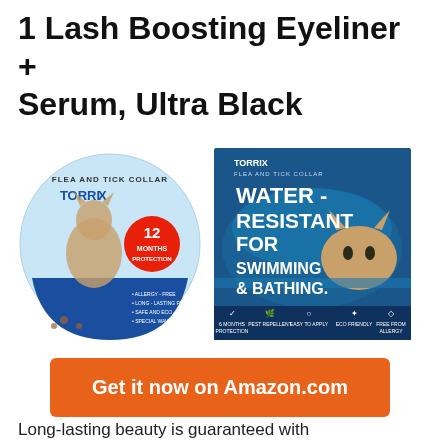1 Lash Boosting Eyeliner + Serum, Ultra Black
[Figure (photo): Two product images for Torrix Flea and Tick Collar for cats. Left: circular package showing a cat with '12 Months Protection' text and bullet points (Allergy-Free, Long-Lasting Protection, Safe and Free-Friendly, Special Waves). Right: Blue rectangular package showing a cat swimming/in water with text 'Water-Resistant for Swimming & Bathing' and feature icons at the bottom.]
Get it now on Amazon.com
Long-lasting beauty is guaranteed with